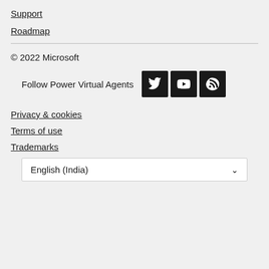Support
Roadmap
© 2022 Microsoft
Follow Power Virtual Agents
[Figure (illustration): Social media icons: Twitter, YouTube, RSS feed]
Privacy & cookies
Terms of use
Trademarks
English (India)